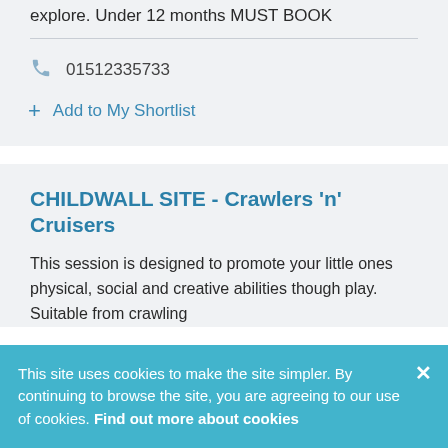explore. Under 12 months MUST BOOK
01512335733
+ Add to My Shortlist
CHILDWALL SITE - Crawlers 'n' Cruisers
This session is designed to promote your little ones physical, social and creative abilities though play. Suitable from crawling
This site uses cookies to make the site simpler. By continuing to browse the site, you are agreeing to our use of cookies. Find out more about cookies